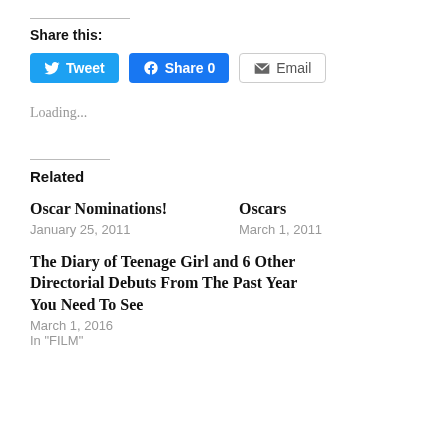Share this:
[Figure (other): Social sharing buttons: Tweet, Share 0, Email]
Loading...
Related
Oscar Nominations!
January 25, 2011
Oscars
March 1, 2011
The Diary of Teenage Girl and 6 Other Directorial Debuts From The Past Year You Need To See
March 1, 2016
In "FILM"